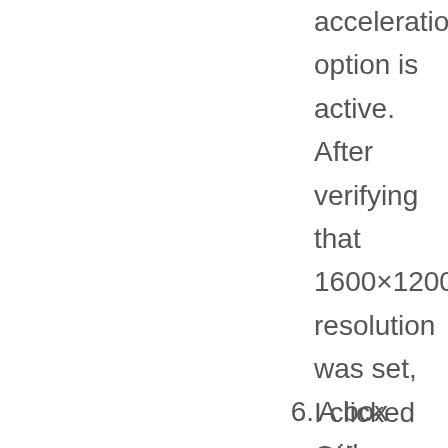acceleration option is active. After verifying that 1600×1200 resolution was set, I clicked OK without changing anything. Note: found the output from this command in /var/log/SaX.log.
6. A box with a "Test"